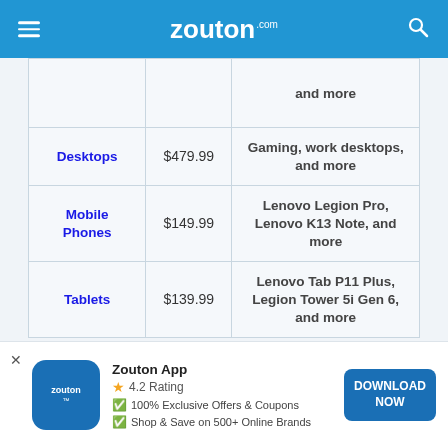zouton.com
| Category | Price | Description |
| --- | --- | --- |
|  |  | and more |
| Desktops | $479.99 | Gaming, work desktops, and more |
| Mobile Phones | $149.99 | Lenovo Legion Pro, Lenovo K13 Note, and more |
| Tablets | $139.99 | Lenovo Tab P11 Plus, Legion Tower 5i Gen 6, and more |
Zouton App — 4.2 Rating — 100% Exclusive Offers & Coupons — Shop & Save on 500+ Online Brands — DOWNLOAD NOW